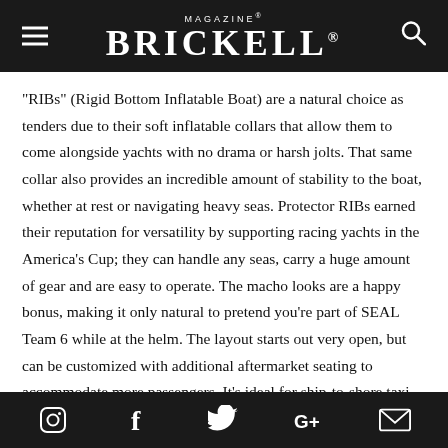MAGAZINE BRICKELL
“RIBs” (Rigid Bottom Inflatable Boat) are a natural choice as tenders due to their soft inflatable collars that allow them to come alongside yachts with no drama or harsh jolts. That same collar also provides an incredible amount of stability to the boat, whether at rest or navigating heavy seas. Protector RIBs earned their reputation for versatility by supporting racing yachts in the America’s Cup; they can handle any seas, carry a huge amount of gear and are easy to operate. The macho looks are a happy bonus, making it only natural to pretend you’re part of SEAL Team 6 while at the helm. The layout starts out very open, but can be customized with additional aftermarket seating to accommodate more passengers. It’s ideal for ship-to-shore taxi service or dive
Instagram | Facebook | Twitter | Google+ | Email